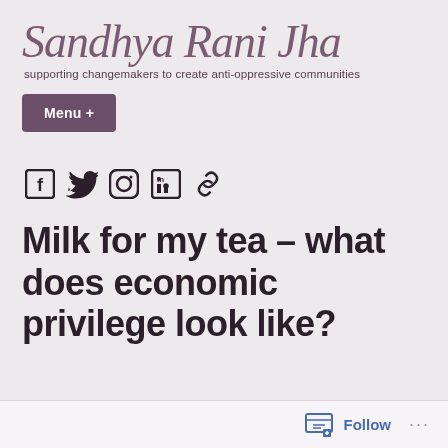Sandhya Rani Jha
supporting changemakers to create anti-oppressive communities
Menu +
[Figure (other): Social media icons: Facebook, Twitter, Instagram, LinkedIn, link]
Milk for my tea – what does economic privilege look like?
Follow ...